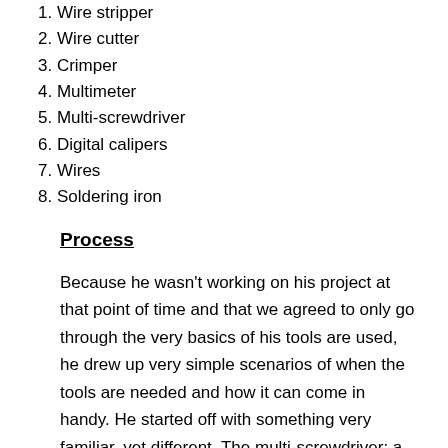1. Wire stripper
2. Wire cutter
3. Crimper
4. Multimeter
5. Multi-screwdriver
6. Digital calipers
7. Wires
8. Soldering iron
Process
Because he wasn't working on his project at that point of time and that we agreed to only go through the very basics of his tools are used, he drew up very simple scenarios of when the tools are needed and how it can come in handy. He started off with something very familiar, yet different. The multi-screwdriver: a screwdriver with interchangeable tips. The tip and the driver itself is connected via magnets. I can totally use